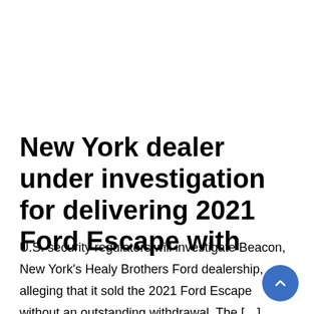New York dealer under investigation for delivering 2021 Ford Escape with
U.S. security regulators will investigate Beacon, New York's Healy Brothers Ford dealership, alleging that it sold the 2021 Ford Escape without an outstanding withdrawal. The […]